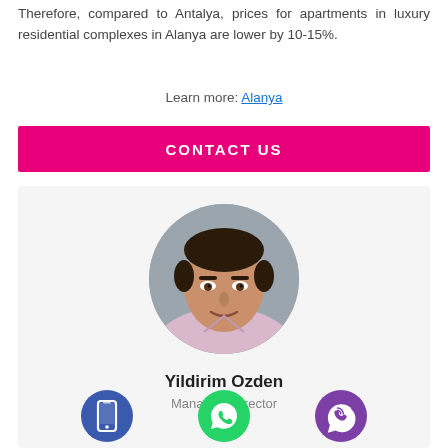Therefore, compared to Antalya, prices for apartments in luxury residential complexes in Alanya are lower by 10-15%.
Learn more: Alanya
CONTACT US
[Figure (photo): Circular portrait photo of Yildirim Ozden, a middle-aged man in a light pink shirt, against a grey background.]
Yildirim Ozden
Managing Director
[Figure (illustration): Three circular contact icons: blue mobile phone icon, green WhatsApp icon, purple Viber icon.]